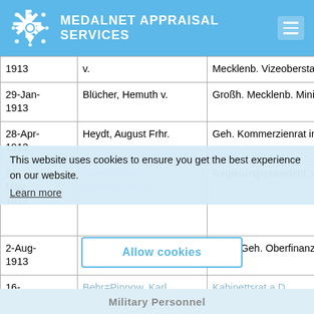MEDALNET APPRAISAL SERVICES
| Date | Name | Title/Position |
| --- | --- | --- |
| 1913 | v. | Mecklenb. Vizeoberstallmeister |
| 29-Jan-1913 | Blücher, Hemuth v. | Großh. Mecklenb. Ministerialdire... |
| 28-Apr-1913 | Heydt, August Frhr. | Geh. Kommerzienrat in Elberfeld |
| 24-May-1913 | Seherr=Thoß, Günther Frhr. v. | Regierungspräsident, wirkl. Geh. |
| 2-Aug-1913 | Hummit, Hugo | Wirkl. Geh. Oberfinanzsrat in Ber... |
| 16-Aug-1913 | Behr=Pinnow, Karl v., Dr. | Kabinettsrat a.D. |
This website uses cookies to ensure you get the best experience on our website. Learn more
Allow cookies
Military Personnel